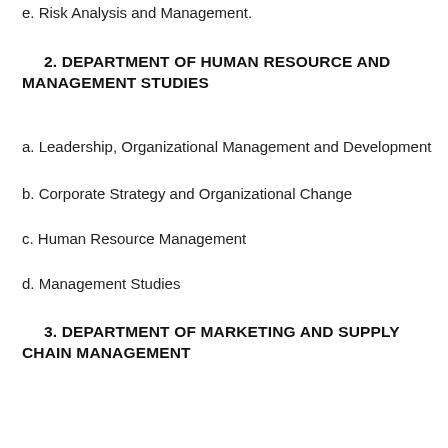e. Risk Analysis and Management.
2. DEPARTMENT OF HUMAN RESOURCE AND MANAGEMENT STUDIES
a. Leadership, Organizational Management and Development
b. Corporate Strategy and Organizational Change
c. Human Resource Management
d. Management Studies
3. DEPARTMENT OF MARKETING AND SUPPLY CHAIN MANAGEMENT